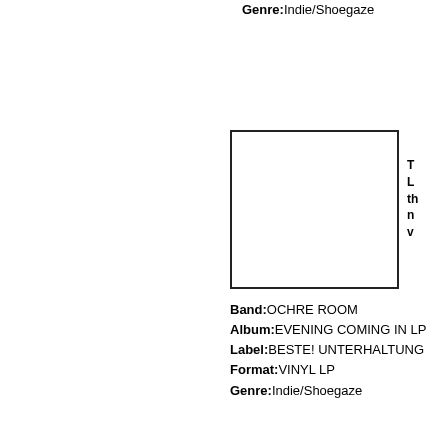Genre:Indie/Shoegaze
[Figure (illustration): Empty white rectangle with black border representing album artwork placeholder]
T L th n v
Band:OCHRE ROOM
Album:EVENING COMING IN LP
Label:BESTE! UNTERHALTUNG
Format:VINYL LP
Genre:Indie/Shoegaze